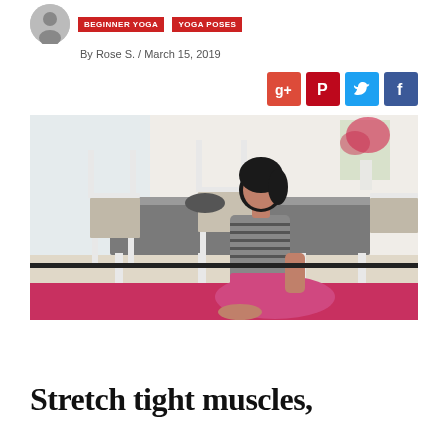BEGINNER YOGA | YOGA POSES
By Rose S. / March 15, 2019
[Figure (other): Social sharing buttons: Google+, Pinterest, Twitter, Facebook]
[Figure (photo): Woman wearing striped top and pink pants sitting on a red yoga mat on the floor, with white dining chairs and a table in the background, flowers visible on a shelf]
Stretch tight muscles,